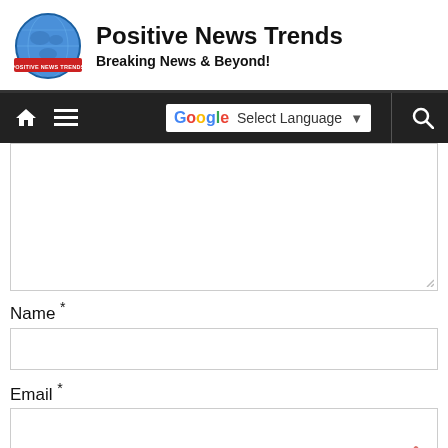[Figure (logo): Globe logo with 'Positive News Trends' text on banner]
Positive News Trends
Breaking News & Beyond!
[Figure (screenshot): Navigation bar with home icon, menu icon, Google Translate language selector, and search icon on dark background]
Name *
Email *
Website